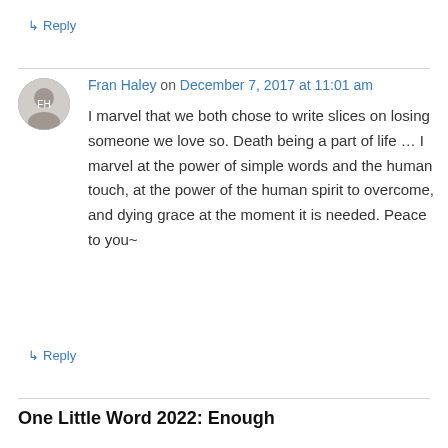↳ Reply
Fran Haley on December 7, 2017 at 11:01 am
I marvel that we both chose to write slices on losing someone we love so. Death being a part of life … I marvel at the power of simple words and the human touch, at the power of the human spirit to overcome, and dying grace at the moment it is needed. Peace to you~
↳ Reply
One Little Word 2022: Enough